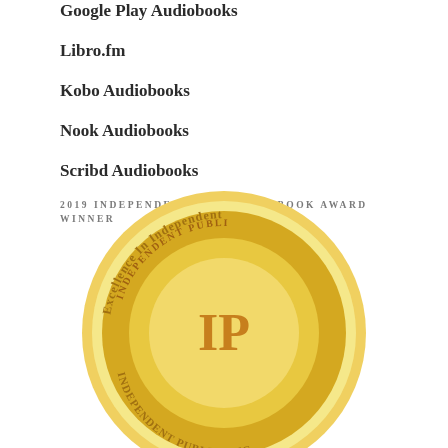Google Play Audiobooks
Libro.fm
Kobo Audiobooks
Nook Audiobooks
Scribd Audiobooks
2019 INDEPENDENT PUBLISHER BOOK AWARD WINNER
[Figure (illustration): Gold circular medal/seal for 2019 Independent Publisher Book Award, showing text 'Excellence In Independent Publishing' around the outer ring and 'INDEPENDENT PUBLISHING' with 'IP' letters in the center, in gold tones.]